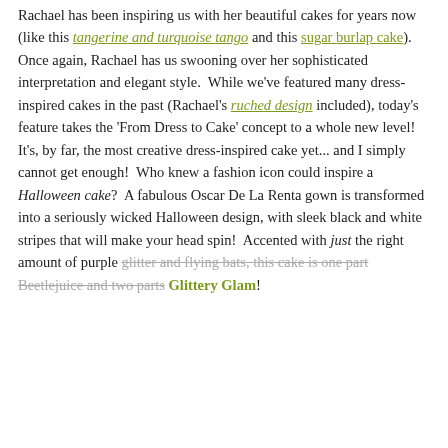Rachael has been inspiring us with her beautiful cakes for years now (like this tangerine and turquoise tango and this sugar burlap cake).  Once again, Rachael has us swooning over her sophisticated interpretation and elegant style.  While we've featured many dress-inspired cakes in the past (Rachael's ruched design included), today's feature takes the 'From Dress to Cake' concept to a whole new level!  It's, by far, the most creative dress-inspired cake yet... and I simply cannot get enough!  Who knew a fashion icon could inspire a Halloween cake?  A fabulous Oscar De La Renta gown is transformed into a seriously wicked Halloween design, with sleek black and white stripes that will make your head spin!  Accented with just the right amount of purple glitter and flying bats, this cake is one part Beetlejuice and two parts Glittery Glam!